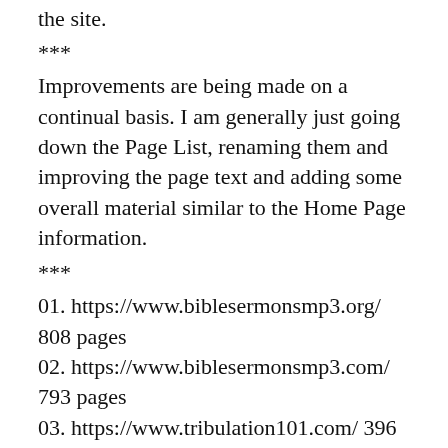the site.
***
Improvements are being made on a continual basis. I am generally just going down the Page List, renaming them and improving the page text and adding some overall material similar to the Home Page information.
***
01. https://www.biblesermonsmp3.org/ 808 pages
02. https://www.biblesermonsmp3.com/ 793 pages
03. https://www.tribulation101.com/ 396 pages
04. https://www.kensbibleclass.com/ 777 pages.
05. https://www.bibleclass123.com/ 795 pages.
06. https://www.biblesermons123.com/ 794